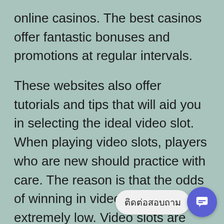online casinos. The best casinos offer fantastic bonuses and promotions at regular intervals.
These websites also offer tutorials and tips that will aid you in selecting the ideal video slot. When playing video slots, players who are new should practice with care. The reason is that the odds of winning in video slots are extremely low. Video slots are largely dependent on luck. Video slots do not require sophisticated gaming strategies. All you have to do is keep an an eye on the reels and the machine that pays the highest.